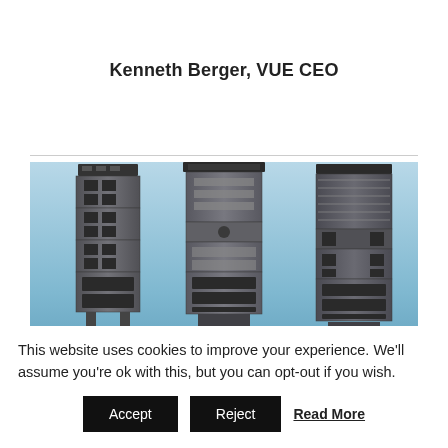Kenneth Berger, VUE CEO
[Figure (photo): Three tall professional line array speaker towers against a blue gradient background, viewed from below at an upward angle.]
This website uses cookies to improve your experience. We'll assume you're ok with this, but you can opt-out if you wish.
Accept
Reject
Read More